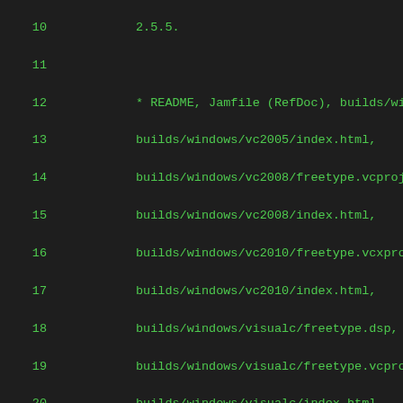Code listing showing file paths for FreeType build system, lines 10-31